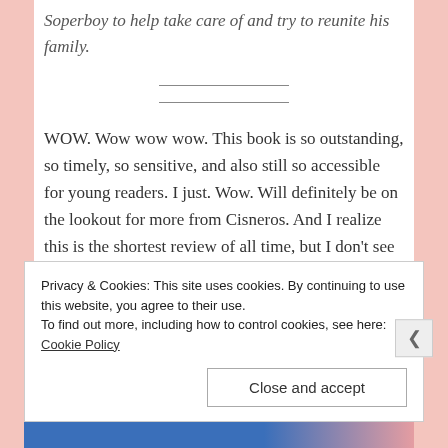Soperboy to help take care of and try to reunite his family.
WOW. Wow wow wow. This book is so outstanding, so timely, so sensitive, and also still so accessible for young readers. I just. Wow. Will definitely be on the lookout for more from Cisneros. And I realize this is the shortest review of all time, but I don't see anyone talking about this book, and I don't know why, and I don't know
Privacy & Cookies: This site uses cookies. By continuing to use this website, you agree to their use.
To find out more, including how to control cookies, see here: Cookie Policy
[Close and accept]